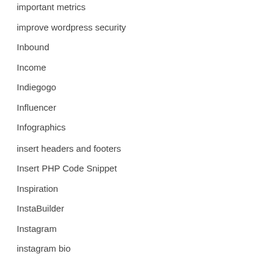important metrics
improve wordpress security
Inbound
Income
Indiegogo
Influencer
Infographics
insert headers and footers
Insert PHP Code Snippet
Inspiration
InstaBuilder
Instagram
instagram bio